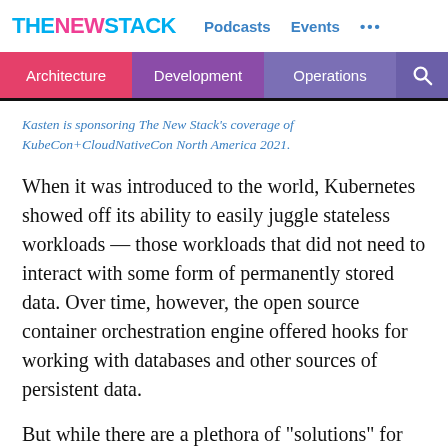THE NEW STACK  Podcasts  Events  ...
Architecture  Development  Operations
Kasten is sponsoring The New Stack's coverage of KubeCon+CloudNativeCon North America 2021.
When it was introduced to the world, Kubernetes showed off its ability to easily juggle stateless workloads — those workloads that did not need to interact with some form of permanently stored data. Over time, however, the open source container orchestration engine offered hooks for working with databases and other sources of persistent data.
But while there are a plethora of "solutions" for